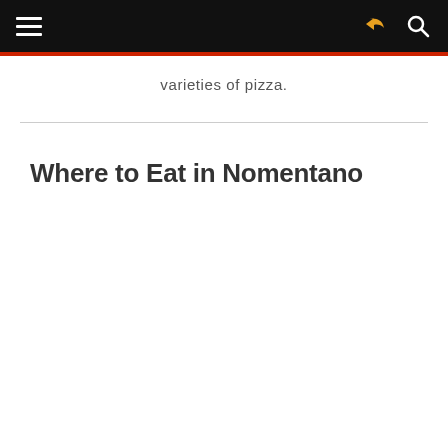[hamburger menu] [share icon] [search icon]
varieties of pizza.
Where to Eat in Nomentano